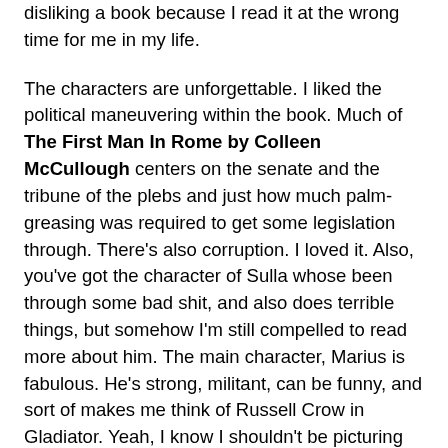disliking a book because I read it at the wrong time for me in my life.
The characters are unforgettable. I liked the political maneuvering within the book. Much of The First Man In Rome by Colleen McCullough centers on the senate and the tribune of the plebs and just how much palm-greasing was required to get some legislation through. There's also corruption. I loved it. Also, you've got the character of Sulla whose been through some bad shit, and also does terrible things, but somehow I'm still compelled to read more about him. The main character, Marius is fabulous. He's strong, militant, can be funny, and sort of makes me think of Russell Crow in Gladiator. Yeah, I know I shouldn't be picturing actors for characters, but really Marius and Russell Crow look the same in my mind.
I feel like I learned a ton about Rome as well. I learned about the cursus honorum which is basically what you have to climb to gain power. I learned about the importance of grain to the Roman economy. Also why the tribune of plebs is important. The